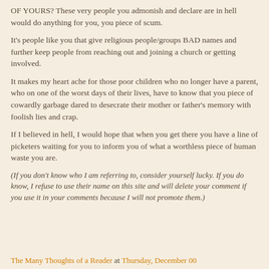OF YOURS? These very people you admonish and declare are in hell would do anything for you, you piece of scum.
It's people like you that give religious people/groups BAD names and further keep people from reaching out and joining a church or getting involved.
It makes my heart ache for those poor children who no longer have a parent, who on one of the worst days of their lives, have to know that you piece of cowardly garbage dared to desecrate their mother or father's memory with foolish lies and crap.
If I believed in hell, I would hope that when you get there you have a line of picketers waiting for you to inform you of what a worthless piece of human waste you are.
(If you don't know who I am referring to, consider yourself lucky. If you do know, I refuse to use their name on this site and will delete your comment if you use it in your comments because I will not promote them.)
The Many Thoughts of a Reader at Thursday, December 00